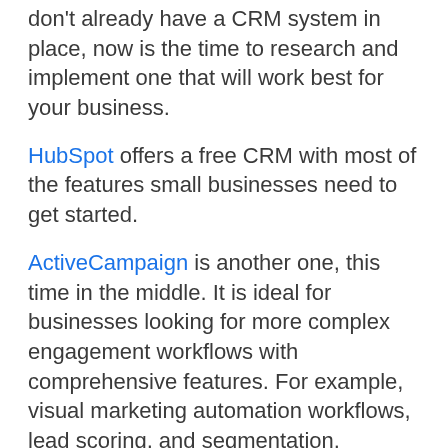don't already have a CRM system in place, now is the time to research and implement one that will work best for your business.
HubSpot offers a free CRM with most of the features small businesses need to get started.
ActiveCampaign is another one, this time in the middle. It is ideal for businesses looking for more complex engagement workflows with comprehensive features. For example, visual marketing automation workflows, lead scoring, and segmentation.